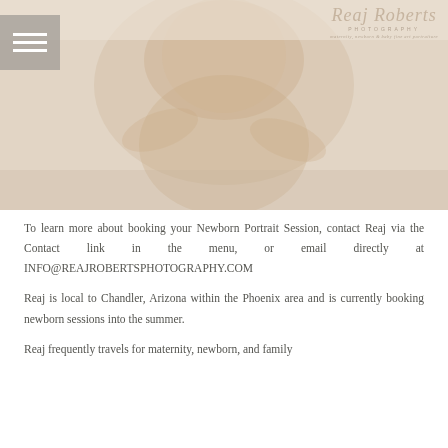[Figure (photo): Close-up photograph of a baby lying on a cream/beige background, looking up at the camera with hands near face. Warm, soft tones. Photography studio style image.]
To learn more about booking your Newborn Portrait Session, contact Reaj via the Contact link in the menu, or email directly at INFO@REAJROBERTSPHOTOGRAPHY.COM
Reaj is local to Chandler, Arizona within the Phoenix area and is currently booking newborn sessions into the summer.
Reaj frequently travels for maternity, newborn, and family